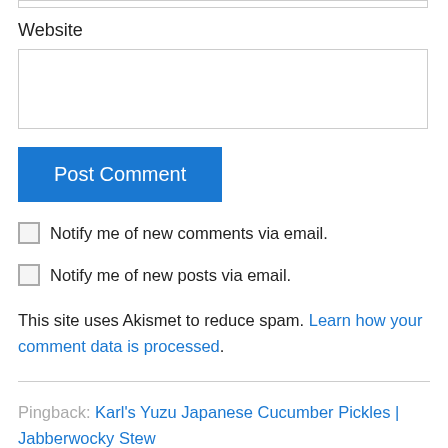Website
Post Comment
Notify me of new comments via email.
Notify me of new posts via email.
This site uses Akismet to reduce spam. Learn how your comment data is processed.
Pingback: Karl's Yuzu Japanese Cucumber Pickles | Jabberwocky Stew